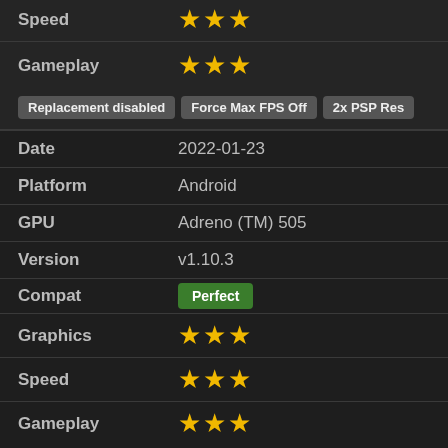| Field | Value |
| --- | --- |
| Speed | ★★★ |
| Gameplay | ★★★ |
Replacement disabled | Force Max FPS Off | 2x PSP Res
| Field | Value |
| --- | --- |
| Date | 2022-01-23 |
| Platform | Android |
| GPU | Adreno (TM) 505 |
| Version | v1.10.3 |
| Compat | Perfect |
| Graphics | ★★★ |
| Speed | ★★★ |
| Gameplay | ★★★ |
Force Max FPS Off | 2x PSP Res